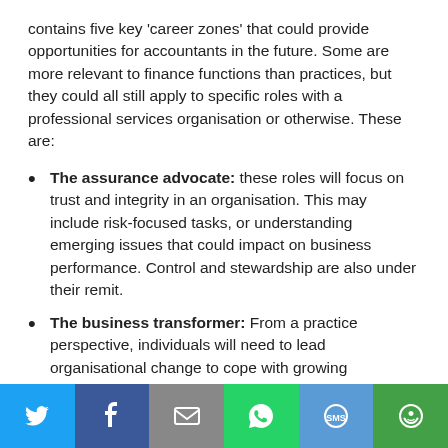contains five key 'career zones' that could provide opportunities for accountants in the future. Some are more relevant to finance functions than practices, but they could all still apply to specific roles with a professional services organisation or otherwise. These are:
The assurance advocate: these roles will focus on trust and integrity in an organisation. This may include risk-focused tasks, or understanding emerging issues that could impact on business performance. Control and stewardship are also under their remit.
The business transformer: From a practice perspective, individuals will need to lead organisational change to cope with growing